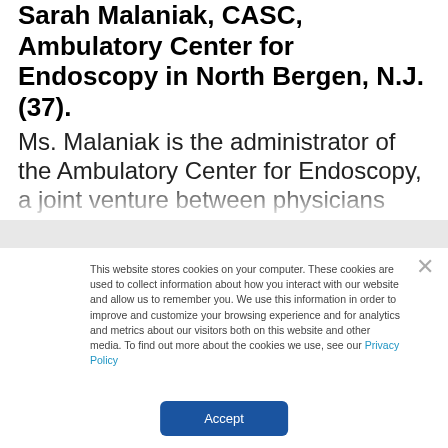Sarah Malaniak, CASC, Ambulatory Center for Endoscopy in North Bergen, N.J. (37).
Ms. Malaniak is the administrator of the Ambulatory Center for Endoscopy, a joint venture between physicians from seven GI practices and Physicians Endoscopy. She began her career in healthcare in 1998 as the administrator of Teaneck (N.J.) Surgical Center. Ms. Malaniak
This website stores cookies on your computer. These cookies are used to collect information about how you interact with our website and allow us to remember you. We use this information in order to improve and customize your browsing experience and for analytics and metrics about our visitors both on this website and other media. To find out more about the cookies we use, see our Privacy Policy